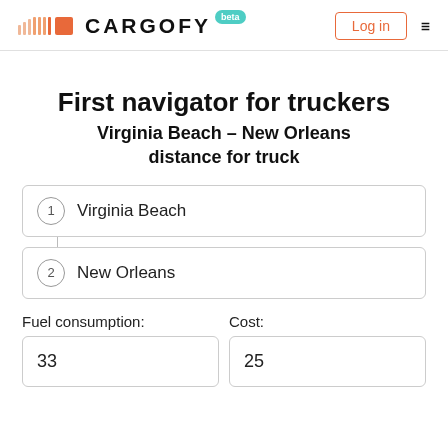CARGOFY beta | Log in
First navigator for truckers
Virginia Beach – New Orleans distance for truck
Virginia Beach
New Orleans
Fuel consumption:
Cost:
33
25